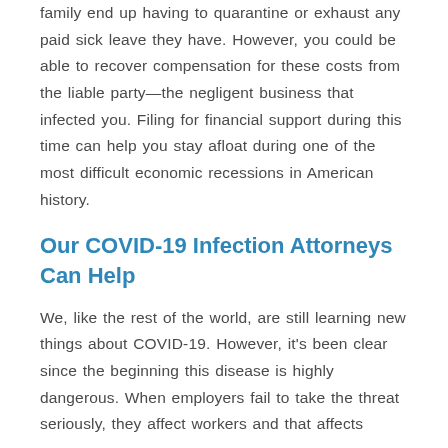family end up having to quarantine or exhaust any paid sick leave they have. However, you could be able to recover compensation for these costs from the liable party—the negligent business that infected you. Filing for financial support during this time can help you stay afloat during one of the most difficult economic recessions in American history.
Our COVID-19 Infection Attorneys Can Help
We, like the rest of the world, are still learning new things about COVID-19. However, it's been clear since the beginning this disease is highly dangerous. When employers fail to take the threat seriously, they affect workers and that affects...